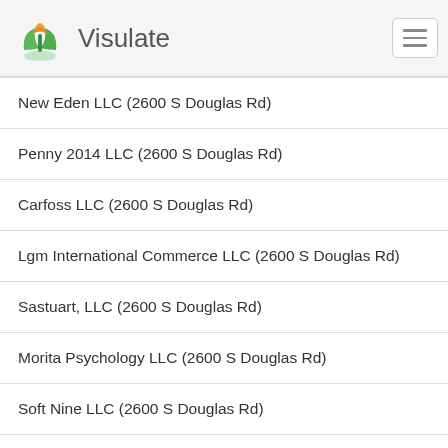Visulate
New Eden LLC (2600 S Douglas Rd)
Penny 2014 LLC (2600 S Douglas Rd)
Carfoss LLC (2600 S Douglas Rd)
Lgm International Commerce LLC (2600 S Douglas Rd)
Sastuart, LLC (2600 S Douglas Rd)
Morita Psychology LLC (2600 S Douglas Rd)
Soft Nine LLC (2600 S Douglas Rd)
Royal Brum LLC (2600 S Douglas Rd)
Mecsay Foundation Director LLC (2600 S Douglas Rd)
Sadoral Investments, LLC (2600 S Douglas Rd)